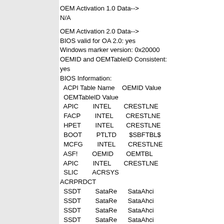OEM Activation 1.0 Data-->
N/A
OEM Activation 2.0 Data-->
BIOS valid for OA 2.0: yes
Windows marker version: 0x20000
OEMID and OEMTableID Consistent: yes
BIOS Information:
  ACPI Table Name    OEMID Value    OEMTableID Value
  APIC               INTEL          CRESTLNE
  FACP               INTEL          CRESTLNE
  HPET               INTEL          CRESTLNE
  BOOT               PTLTD          $SBFTBL$
  MCFG               INTEL          CRESTLNE
  ASF!               OEMID          OEMTBL
  APIC               INTEL          CRESTLNE
  SLIC               ACRSYS         ACRPRDCT
  SSDT               SataRe         SataAhci
  SSDT               SataRe         SataAhci
  SSDT               SataRe         SataAhci
  SSDT               SataRe         SataAhci
Then what should i do now?
And i can't enter serial number or SNID